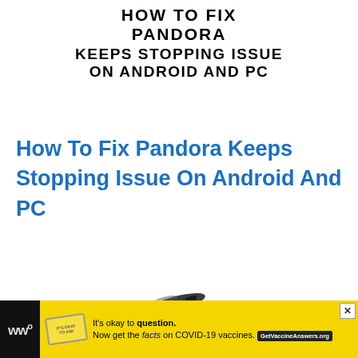[Figure (infographic): White text with black stroke banner reading HOW TO FIX PANDORA KEEPS STOPPING ISSUE ON ANDROID AND PC in bold uppercase letters centered at top]
How To Fix Pandora Keeps Stopping Issue On Android And PC
[Figure (photo): Small image of an Amazon Firestick device, black elongated remote/dongle, positioned in center of page]
[Figure (infographic): White text with black stroke banner reading HOW TO FIX FIRESTICK DOWNLOAD STUCK ON QUEUE in bold uppercase letters]
[Figure (infographic): Advertisement bar at bottom: yellow background with stamp logo, text reading It's okay to question. Now get the facts on COVID-19 vaccines. GetVaccineAnswers.org button. Black sidebar on left with Merriam-Webster style logo.]